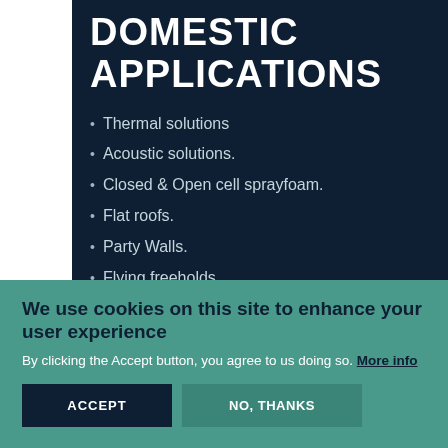DOMESTIC APPLICATIONS
Thermal solutions
Acoustic solutions.
Closed & Open cell sprayfoam.
Flat roofs.
Party Walls.
Flying freeholds.
Noisy Neighbours.
Train track & underground noise
We use cookies on this site to enhance your user experience
By clicking the Accept button, you agree to us doing so. More info
ACCEPT
NO, THANKS